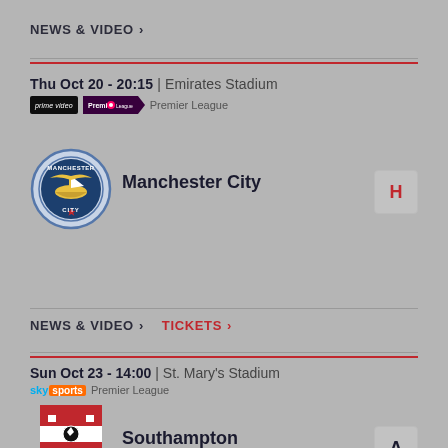NEWS & VIDEO >
Thu Oct 20 - 20:15 | Emirates Stadium
prime video | Premier League | Premier League
[Figure (logo): Manchester City club crest logo]
Manchester City
H
NEWS & VIDEO >
TICKETS >
Sun Oct 23 - 14:00 | St. Mary's Stadium
sky sports | Premier League
[Figure (logo): Southampton club crest logo]
Southampton
A